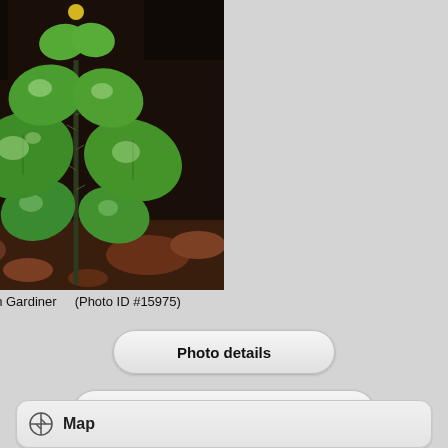[Figure (photo): Close-up photograph of a small green plant with rounded heart-shaped leaves on a reddish-brown soil and bark ground. The plant stem is dark and hairy/fuzzy leaves reflect light. Photo credit: Ian Gardiner, Photo ID #15975.]
© Ian Gardiner    (Photo ID #15975)
Photo details
View all photos for this taxon.
Map